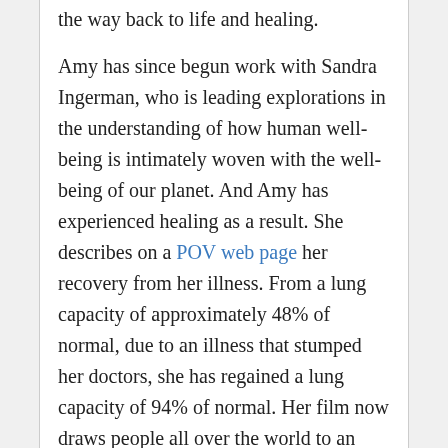the way back to life and healing.
Amy has since begun work with Sandra Ingerman, who is leading explorations in the understanding of how human well-being is intimately woven with the well-being of our planet. And Amy has experienced healing as a result. She describes on a POV web page her recovery from her illness. From a lung capacity of approximately 48% of normal, due to an illness that stumped her doctors, she has regained a lung capacity of 94% of normal. Her film now draws people all over the world to an exploration of their own dreaming, and she conducts workshops to help with this process.
In this documentary, Amy Hardie has explored